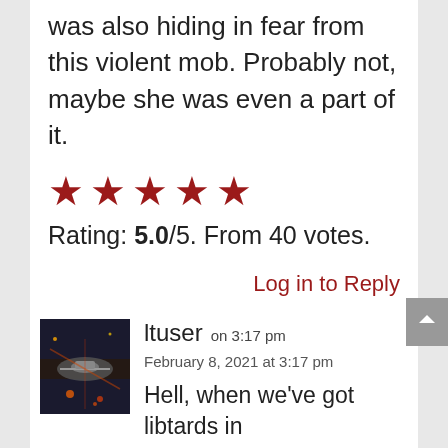was also hiding in fear from this violent mob. Probably not, maybe she was even a part of it.
[Figure (other): Five red star rating icons]
Rating: 5.0/5. From 40 votes.
Log in to Reply
[Figure (photo): User avatar showing a dark sci-fi or military scene with aircraft]
ltuser on 3:17 pm
February 8, 2021 at 3:17 pm
Hell, when we've got libtards in